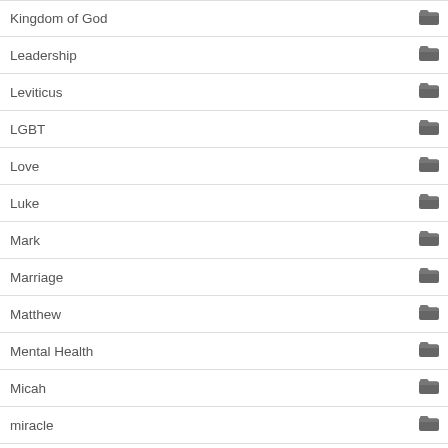Kingdom of God
Leadership
Leviticus
LGBT
Love
Luke
Mark
Marriage
Matthew
Mental Health
Micah
miracle
Mission